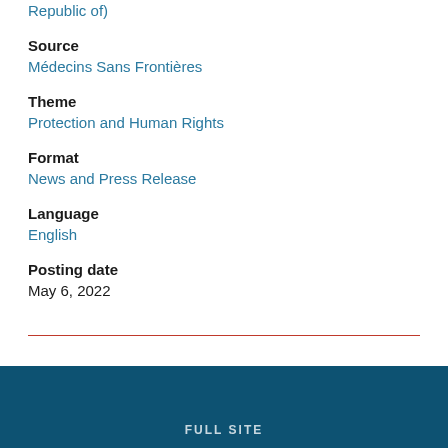Republic of)
Source
Médecins Sans Frontières
Theme
Protection and Human Rights
Format
News and Press Release
Language
English
Posting date
May 6, 2022
FULL SITE